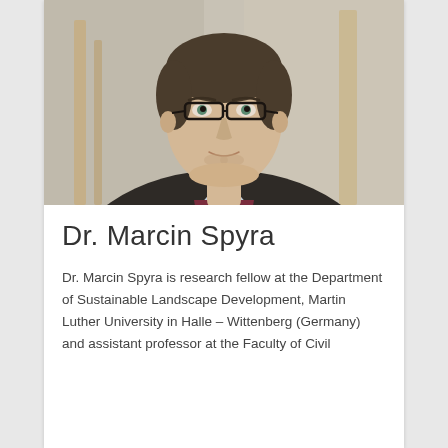[Figure (photo): Portrait photo of Dr. Marcin Spyra, a man with glasses wearing a dark jacket and maroon sweater over a light blue shirt, smiling slightly, photographed from the shoulders up.]
Dr. Marcin Spyra
Dr. Marcin Spyra is research fellow at the Department of Sustainable Landscape Development, Martin Luther University in Halle – Wittenberg (Germany) and assistant professor at the Faculty of Civil